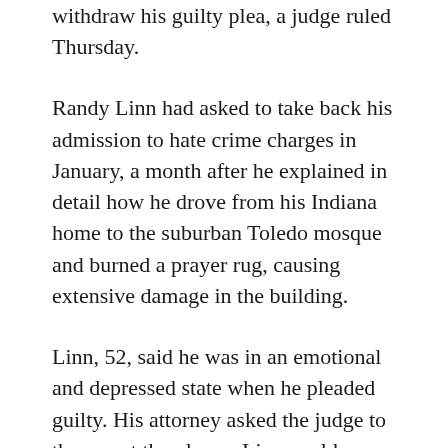withdraw his guilty plea, a judge ruled Thursday.
Randy Linn had asked to take back his admission to hate crime charges in January, a month after he explained in detail how he drove from his Indiana home to the suburban Toledo mosque and burned a prayer rug, causing extensive damage in the building.
Linn, 52, said he was in an emotional and depressed state when he pleaded guilty. His attorney asked the judge to throw out the plea so Linn could undergo a competency exam.
U.S. District Judge Jack Zouhary rejected the request, saying there was nothing indicating